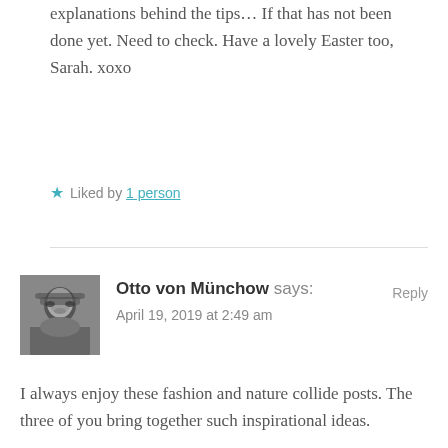explanations behind the tips… If that has not been done yet. Need to check. Have a lovely Easter too, Sarah. xoxo
★ Liked by 1 person
Otto von Münchow says: April 19, 2019 at 2:49 am   Reply
[Figure (photo): Black and white portrait photo of Otto von Münchow, an older man wearing glasses]
I always enjoy these fashion and nature collide posts. The three of you bring together such inspirational ideas.